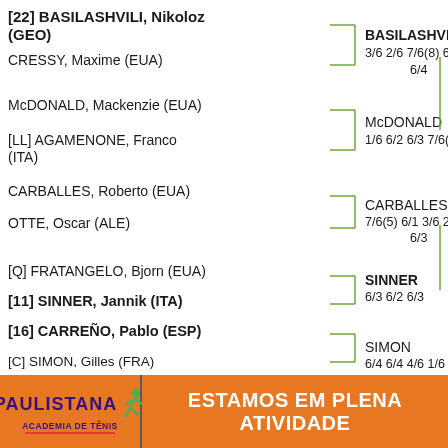[Figure (flowchart): Tennis tournament bracket showing match results with player names, nationalities, seeds, and scores for multiple rounds.]
[22] BASILASHVILI, Nikoloz (GEO)
CRESSY, Maxime (EUA)
BASILASHVILI 3/6 2/6 7/6(8) 6/4 6/4
McDONALD, Mackenzie (EUA)
[LL] AGAMENONE, Franco (ITA)
McDONALD 1/6 6/2 6/3 7/6(3)
CARBALLES, Roberto (EUA)
OTTE, Oscar (ALE)
CARBALLES 7/6(5) 6/1 3/6 2/6 6/3
[Q] FRATANGELO, Bjorn (EUA)
[11] SINNER, Jannik (ITA)
SINNER 6/3 6/2 6/3
[16] CARREÑO, Pablo (ESP)
[C] SIMON, Gilles (FRA)
SIMON 6/4 6/4 4/6 1/6
[Figure (logo): Paulistana Academia de Tenis logo with runner figure]
ESTAMOS EM PLENA ATIVIDADE